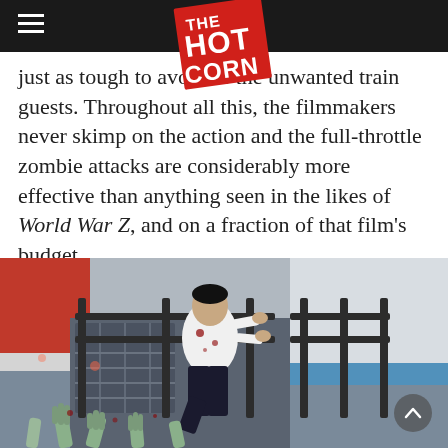THE HOT CORN (logo/navigation bar)
just as tough to avoid as the unwanted train guests. Throughout all this, the filmmakers never skimp on the action and the full-throttle zombie attacks are considerably more effective than anything seen in the likes of World War Z, and on a fraction of that film's budget.
[Figure (photo): A man in a blood-stained white shirt climbing on the outside of a moving train, gripping metal railings, with zombie hands reaching up from below.]